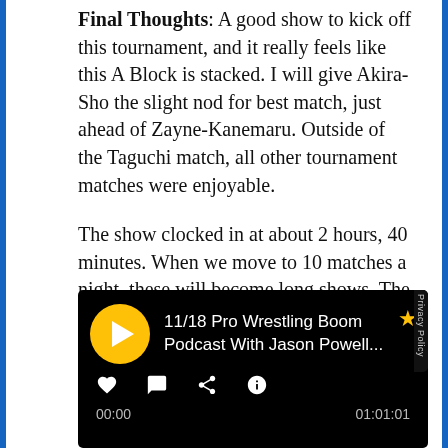Final Thoughts: A good show to kick off this tournament, and it really feels like this A Block is stacked. I will give Akira-Sho the slight nod for best match, just ahead of Zayne-Kanemaru. Outside of the Taguchi match, all other tournament matches were enjoyable.

The show clocked in at about 2 hours, 40 minutes. When we move to 10 matches a night, these will become long shows. The tournament continues on Tuesday.
[Figure (screenshot): Podcast player widget showing '11/18 Pro Wrestling Boom Podcast With Jason Powell...' with play button, star icon, heart/comment/share/info icons, timestamps 00:00 and 01:01:01, Privacy Policy label on right side, dark background.]